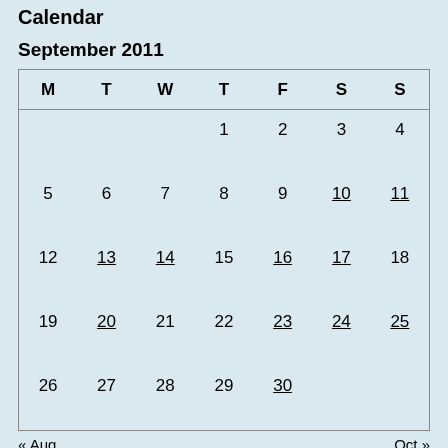Calendar
September 2011
| M | T | W | T | F | S | S |
| --- | --- | --- | --- | --- | --- | --- |
|  |  |  | 1 | 2 | 3 | 4 |
| 5 | 6 | 7 | 8 | 9 | 10 | 11 |
| 12 | 13 | 14 | 15 | 16 | 17 | 18 |
| 19 | 20 | 21 | 22 | 23 | 24 | 25 |
| 26 | 27 | 28 | 29 | 30 |  |  |
« Aug    Oct »